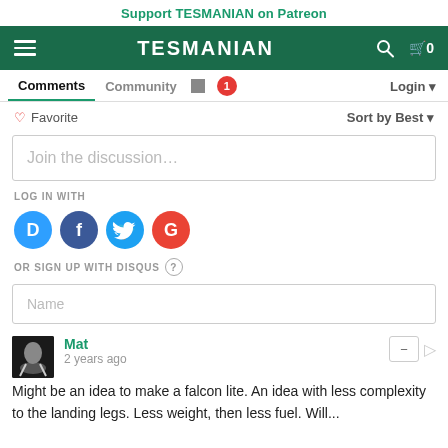Support TESMANIAN on Patreon
TESMANIAN
Comments  Community  Login
Favorite  Sort by Best
Join the discussion...
LOG IN WITH
[Figure (other): Social login icons: Disqus (D), Facebook (f), Twitter (bird), Google (G)]
OR SIGN UP WITH DISQUS ?
Name
Mat
2 years ago
Might be an idea to make a falcon lite. An idea with less complexity to the landing legs. Less weight, then less fuel. Will...